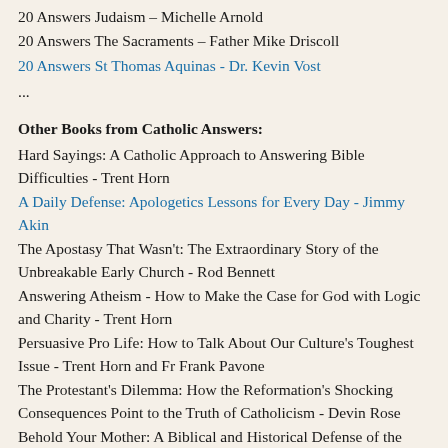20 Answers Judaism – Michelle Arnold
20 Answers The Sacraments – Father Mike Driscoll
20 Answers St Thomas Aquinas - Dr. Kevin Vost
...
Other Books from Catholic Answers:
Hard Sayings: A Catholic Approach to Answering Bible Difficulties - Trent Horn
A Daily Defense: Apologetics Lessons for Every Day - Jimmy Akin
The Apostasy That Wasn't: The Extraordinary Story of the Unbreakable Early Church - Rod Bennett
Answering Atheism - How to Make the Case for God with Logic and Charity - Trent Horn
Persuasive Pro Life: How to Talk About Our Culture's Toughest Issue - Trent Horn and Fr Frank Pavone
The Protestant's Dilemma: How the Reformation's Shocking Consequences Point to the Truth of Catholicism - Devin Rose
Behold Your Mother: A Biblical and Historical Defense of the Marian Doctrines - Tim Staples
Handed Down: The Catholic Faith of the Early Christians - James L. Papandrea
...